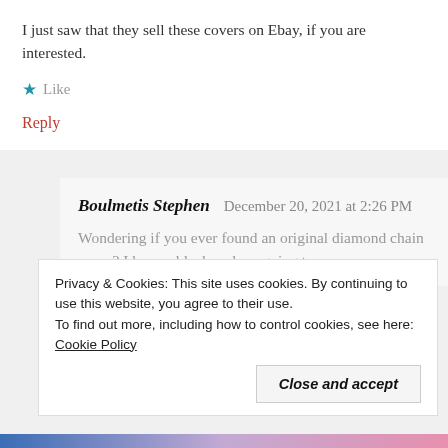I just saw that they sell these covers on Ebay, if you are interested.
★ Like
Reply
Boulmetis Stephen   December 20, 2021 at 2:26 PM
Wondering if you ever found an original diamond chain cover? I have a black and am going to remove
Privacy & Cookies: This site uses cookies. By continuing to use this website, you agree to their use.
To find out more, including how to control cookies, see here: Cookie Policy
Close and accept